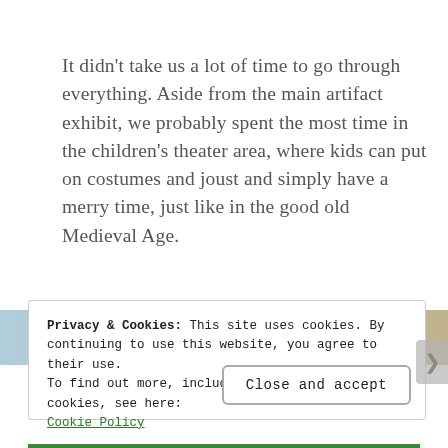It didn't take us a lot of time to go through everything. Aside from the main artifact exhibit, we probably spent the most time in the children's theater area, where kids can put on costumes and joust and simply have a merry time, just like in the good old Medieval Age.
[Figure (photo): Partial view of a colorful photo strip visible behind the cookie consent banner]
Privacy & Cookies: This site uses cookies. By continuing to use this website, you agree to their use.
To find out more, including how to control cookies, see here:
Cookie Policy
Close and accept